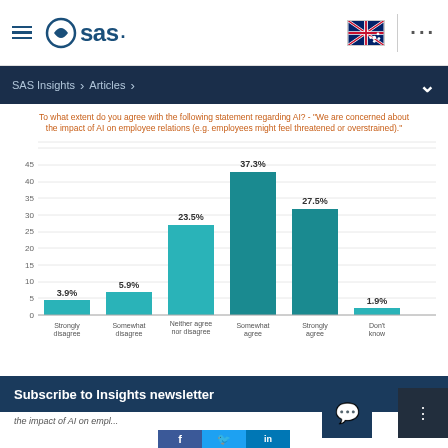SAS (logo) | Australia flag | ...
SAS Insights > Articles >
[Figure (bar-chart): To what extent do you agree with the following statement regarding AI? - "We are concerned about the impact of AI on employee relations (e.g. employees might feel threatened or overstrained)."]
Subscribe to Insights newsletter
the impact of AI on employees